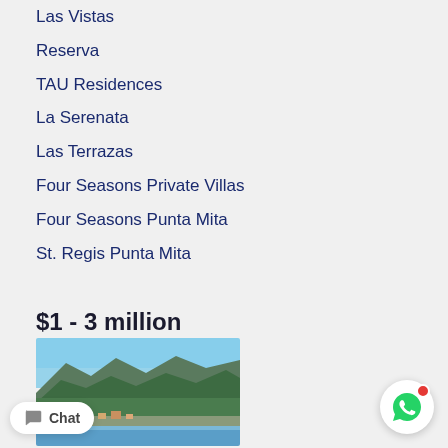Las Vistas
Reserva
TAU Residences
La Serenata
Las Terrazas
Four Seasons Private Villas
Four Seasons Punta Mita
St. Regis Punta Mita
$1 - 3 million
[Figure (photo): Aerial/mountain view of a coastal property area with lush green hills and buildings near the water]